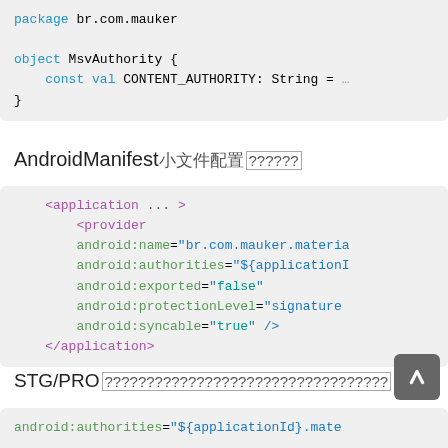[Figure (screenshot): Code block showing Kotlin object MsvAuthority with const val CONTENT_AUTHORITY: String = ...]
AndroidManifest??????
[Figure (screenshot): XML code block showing AndroidManifest provider configuration with application, provider, android:name, android:authorities, android:exported, android:protectionLevel, android:syncable attributes]
STG/PRO??????????????????????????????????
[Figure (screenshot): Code block showing android:authorities="${applicationId}.mate..."]